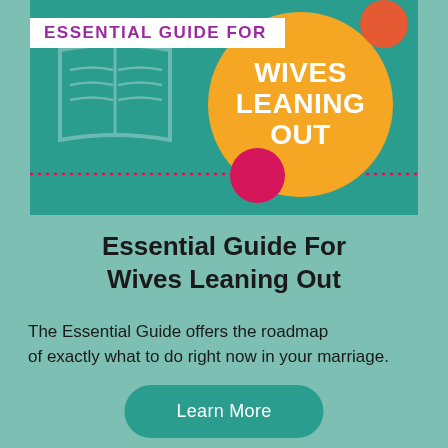[Figure (illustration): Book cover graphic for 'Essential Guide For Wives Leaning Out' featuring a teal background with an open book icon, a large orange circle with white bold text reading 'WIVES LEANING OUT', a red-orange circle top right, a magenta/pink circle center, a white banner with purple text reading 'ESSENTIAL GUIDE FOR', and a pink dotted line across the lower portion.]
Essential Guide For Wives Leaning Out
The Essential Guide offers the roadmap of exactly what to do right now in your marriage.
Learn More